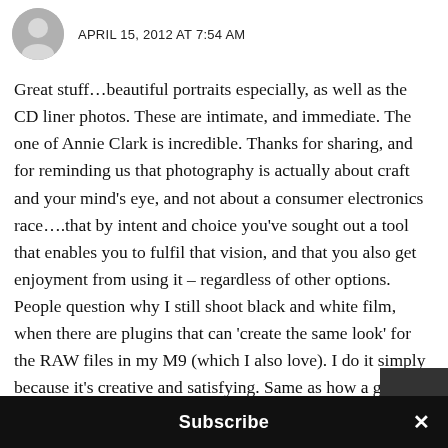APRIL 15, 2012 AT 7:54 AM
Great stuff…beautiful portraits especially, as well as the CD liner photos. These are intimate, and immediate. The one of Annie Clark is incredible. Thanks for sharing, and for reminding us that photography is actually about craft and your mind's eye, and not about a consumer electronics race….that by intent and choice you've sought out a tool that enables you to fulfil that vision, and that you also get enjoyment from using it – regardless of other options. People question why I still shoot black and white film, when there are plugins that can 'create the same look' for the RAW files in my M9 (which I also love). I do it simply because it's creative and satisfying. Same as how a guitar player sometimes switches
Subscribe ×